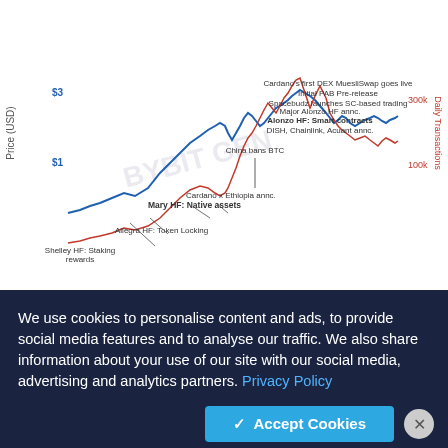developments and design decisions, and as a result, the blockchain looks like it has been designed with the purpose and standards of providing decentralized, global, financial infrastructure rather than only focusing on providing a Web3 experience," Kraken noted.
[Figure (continuous-plot): Line chart showing Cardano (ADA) price in USD (blue line) vs daily transactions (red line) over time, with annotations for key events: Shelley HF: Staking rewards, Allegra HF: Token Locking, Mary HF: Native assets, Cardano x Ethiopia annc., China bans BTC, DISH/Chainlink/Acuant annc., Alonzo HF: Smart contracts, Major Alonzo HF annc., Spacebudz launches SC-based trading, Initial PAB Pre-release, Cardano's first DEX MuesliSwap goes live. Y-axis left: Price (USD) with markers at $1 and $3. Y-axis right: Daily Transactions with markers at 100k and 300k.]
We use cookies to personalise content and ads, to provide social media features and to analyse our traffic. We also share information about your use of our site with our social media, advertising and analytics partners. Privacy Policy
✓ Accept Cookies